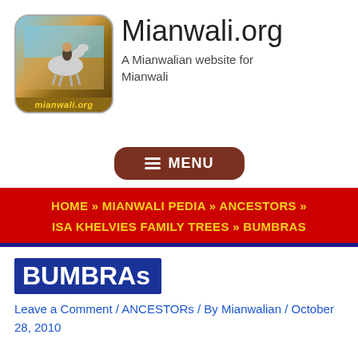[Figure (logo): Mianwali.org logo showing a horse rider statue with blue sky background and yellow 'mianwali.org' text at the bottom]
Mianwali.org
A Mianwalian website for Mianwali
≡ MENU
HOME » MIANWALI PEDIA » ANCESTORS » ISA KHELVIES FAMILY TREES » BUMBRAS
BUMBRAs
Leave a Comment / ANCESTORs / By Mianwalian / October 28, 2010